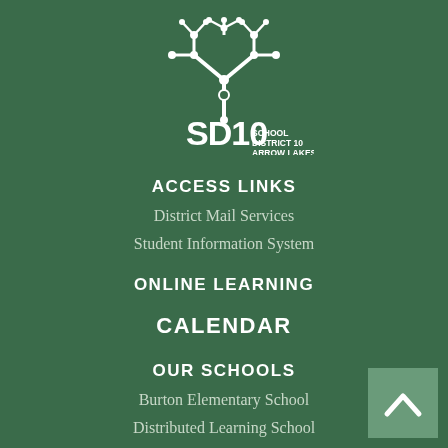[Figure (logo): SD10 School District 10 Arrow Lakes logo with white tree/circuit icon on green background]
ACCESS LINKS
District Mail Services
Student Information System
ONLINE LEARNING
CALENDAR
OUR SCHOOLS
Burton Elementary School
Distributed Learning School
Edgewood Elementary